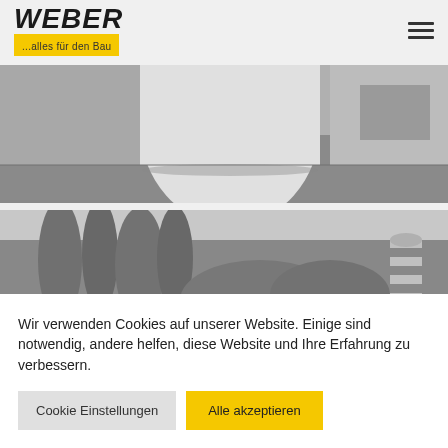[Figure (logo): Weber logo with text 'WEBER' in bold italic and subtitle '...alles für den Bau' on yellow bar]
[Figure (photo): Grayscale interior photo showing a modern white curved reception desk or column in a room with grey floor]
[Figure (photo): Grayscale outdoor photo showing a garden with tall cypress-like trees and a striped decorative pillar on the right]
Wir verwenden Cookies auf unserer Website. Einige sind notwendig, andere helfen, diese Website und Ihre Erfahrung zu verbessern.
Cookie Einstellungen
Alle akzeptieren